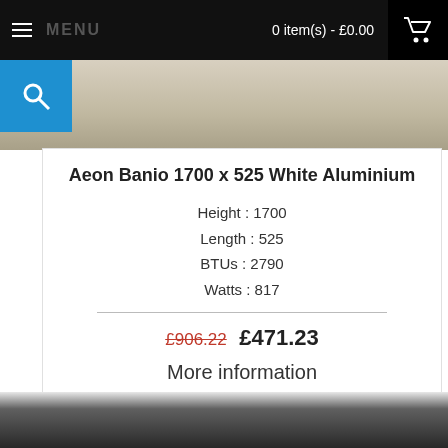MENU   0 item(s) - £0.00
Aeon Banio 1700 x 525 White Aluminium
Height : 1700
Length : 525
BTUs : 2790
Watts : 817
£906.22  £471.23
More information
Add to Cart
Add to Wish List   Compare this Product
[Figure (photo): White aluminium towel radiator on dark background]